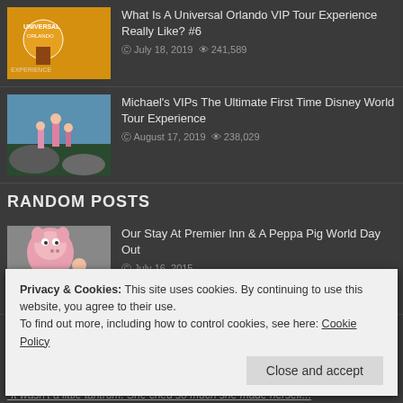[Figure (photo): Thumbnail image for Universal Orlando VIP Tour post]
What Is A Universal Orlando VIP Tour Experience Really Like? #6
July 18, 2019  241,589
[Figure (photo): Thumbnail image of children at Disney World]
Michael's VIPs The Ultimate First Time Disney World Tour Experience
August 17, 2019  238,029
RANDOM POSTS
[Figure (photo): Thumbnail image of Peppa Pig mascot with child]
Our Stay At Premier Inn & A Peppa Pig World Day Out
July 16, 2015
To My Princesses – Letter 4
Privacy & Cookies: This site uses cookies. By continuing to use this website, you agree to their use.
To find out more, including how to control cookies, see here: Cookie Policy
Close and accept
"It wasn't a little tantrum. She cried so much she made herself...